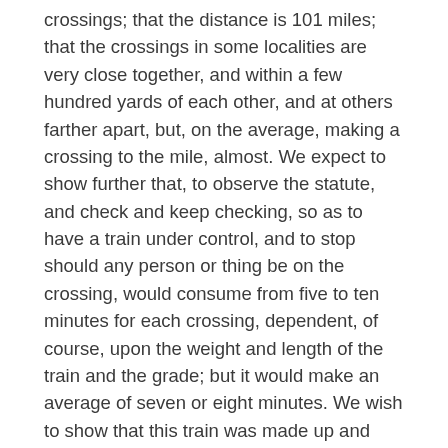crossings; that the distance is 101 miles; that the crossings in some localities are very close together, and within a few hundred yards of each other, and at others farther apart, but, on the average, making a crossing to the mile, almost. We expect to show further that, to observe the statute, and check and keep checking, so as to have a train under control, and to stop should any person or thing be on the crossing, would consume from five to ten minutes for each crossing, dependent, of course, upon the weight and length of the train and the grade; but it would make an average of seven or eight minutes. We wish to show that this train was made up and known as No. 39, the vestibule train which runs from the city of Washington, through the states of Virginia, North Carolina, South Carolina, and Georgia; that it was carrying passengers from one state to another, also carrying an express car with freight on it, from one state